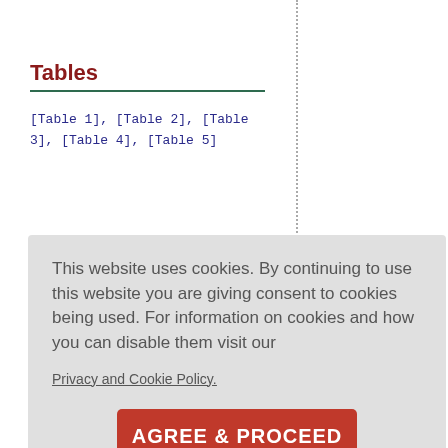Tables
[Table 1], [Table 2], [Table 3], [Table 4], [Table 5]
This article has been cited by
Should we prescribe
Kang
This website uses cookies. By continuing to use this website you are giving consent to cookies being used. For information on cookies and how you can disable them visit our
Privacy and Cookie Policy.
AGREE & PROCEED